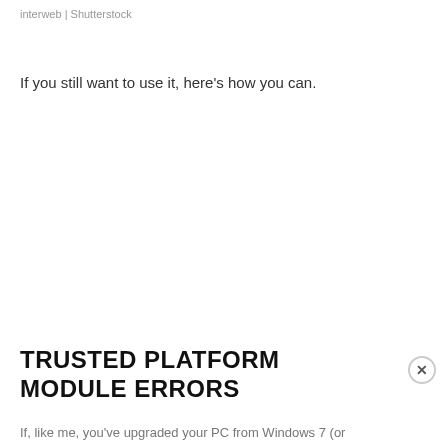interweb | Shutterstock
If you still want to use it, here's how you can.
TRUSTED PLATFORM MODULE ERRORS
If, like me, you've upgraded your PC from Windows 7 (or